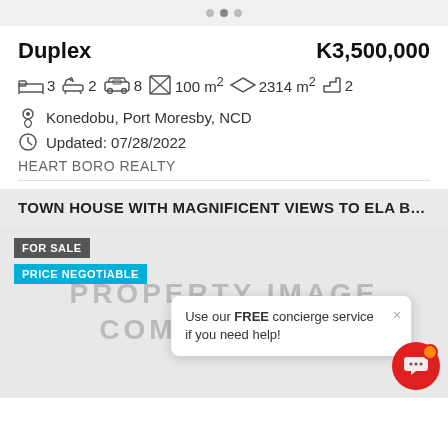Duplex    K3,500,000
3 bedrooms, 2 bathrooms, 8 parking, 100m² floor, 2314m² land, 2 floors
Konedobu, Port Moresby, NCD
Updated: 07/28/2022
HEART BORO REALTY
TOWN HOUSE WITH MAGNIFICENT VIEWS TO ELA BEA...
[Figure (photo): Property image coming soon placeholder with FOR SALE and PRICE NEGOTIABLE badges]
Use our FREE concierge service if you need help!